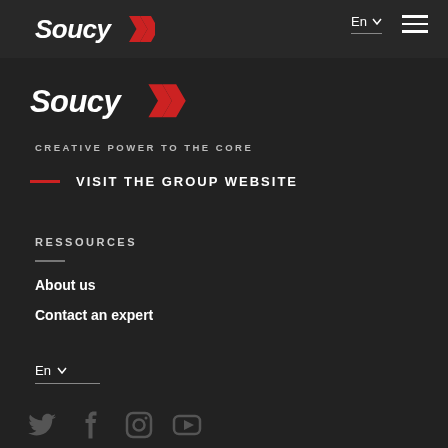[Figure (logo): Soucy logo in top navigation bar - white italic text with red chevron arrows]
En
[Figure (logo): Soucy logo - white italic text with red chevron arrows, larger version in main content area]
CREATIVE POWER TO THE CORE
VISIT THE GROUP WEBSITE
RESSOURCES
About us
Contact an expert
En
[Figure (other): Social media icons: Twitter, Facebook, Instagram, YouTube]